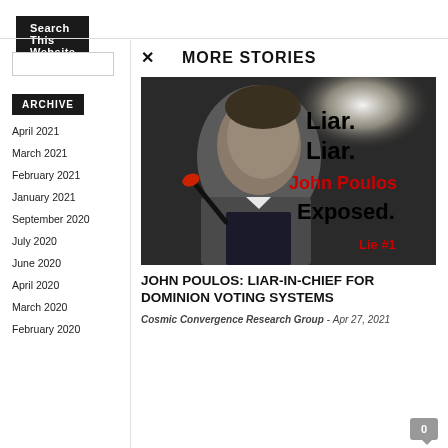Search This Website
ARCHIVE
April 2021
March 2021
February 2021
January 2021
September 2020
July 2020
June 2020
April 2020
March 2020
February 2020
× MORE STORIES
[Figure (photo): Photo of a man at a microphone with overlaid text: 'Liar. Liar. John Poulos Exposed. Lie #1' in bold black and red text on dark background]
JOHN POULOS: LIAR-IN-CHIEF FOR DOMINION VOTING SYSTEMS
Cosmic Convergence Research Group - Apr 27, 2021